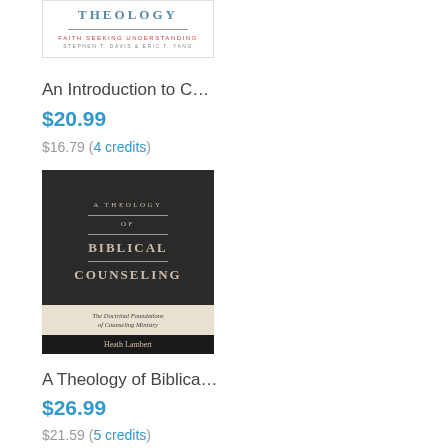[Figure (photo): Partial view of book cover: 'An Introduction to Christian Theology' by Stephen T. Davis & Eric T. Yang — white background with teal title text, red subtitle, gray author name]
An Introduction to C…
$20.99
$16.79 (4 credits)
[Figure (photo): Book cover: 'A Theology of Biblical Counseling: The Doctrinal Foundations of Counseling Ministry' by Heath Lambert — dark charcoal background with cream/tan serif lettering, cream band with italic subtitle, black footer with author name]
A Theology of Biblica…
$26.99
$21.59 (5 credits)
[Figure (photo): Partial view of a third book cover with yellow/green background and illustrated face]